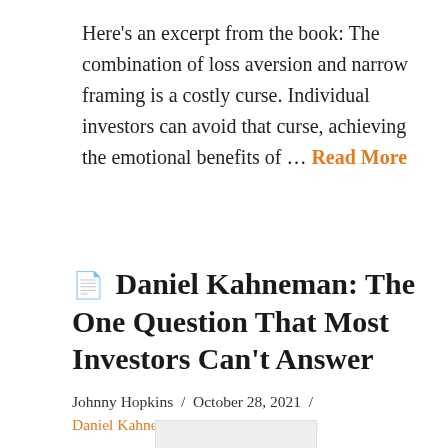Here's an excerpt from the book: The combination of loss aversion and narrow framing is a costly curse. Individual investors can avoid that curse, achieving the emotional benefits of … Read More
Daniel Kahneman: The One Question That Most Investors Can't Answer
Johnny Hopkins / October 28, 2021 / Daniel Kahneman / Leave a Comment
[Figure (other): Partially visible thumbnail image at bottom of page]